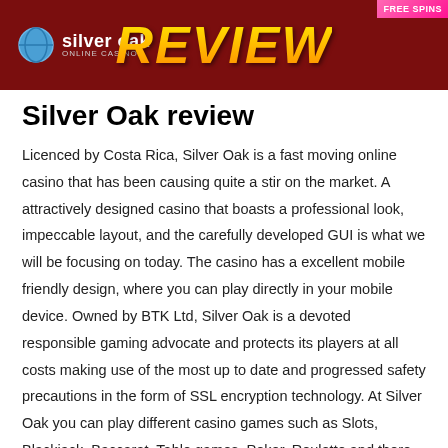[Figure (screenshot): Silver Oak casino review banner with dark red background, Silver Oak logo on the left, large italic 'REVIEW' text in gold/orange gradient in the center, and a 'FREE SPINS' badge in pink at the top right.]
Silver Oak review
Licenced by Costa Rica, Silver Oak is a fast moving online casino that has been causing quite a stir on the market. A attractively designed casino that boasts a professional look, impeccable layout, and the carefully developed GUI is what we will be focusing on today. The casino has a excellent mobile friendly design, where you can play directly in your mobile device. Owned by BTK Ltd, Silver Oak is a devoted responsible gaming advocate and protects its players at all costs making use of the most up to date and progressed safety precautions in the form of SSL encryption technology. At Silver Oak you can play different casino games such as Slots, Blackjack, Baccarat, Table games, Poker, Roulette and there are more then 300+ titles on the site from cracking game providers. The casino site supports different languages such as English.